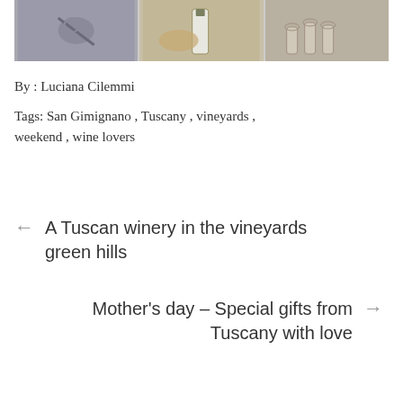[Figure (photo): Three panel photo strip showing wine-related imagery: a corkscrew/wine opener, food/bread with a wine bottle, and wine glasses/bottles on a table.]
By : Luciana Cilemmi
Tags: San Gimignano , Tuscany , vineyards , weekend , wine lovers
← A Tuscan winery in the vineyards green hills
Mother's day – Special gifts from Tuscany with love →